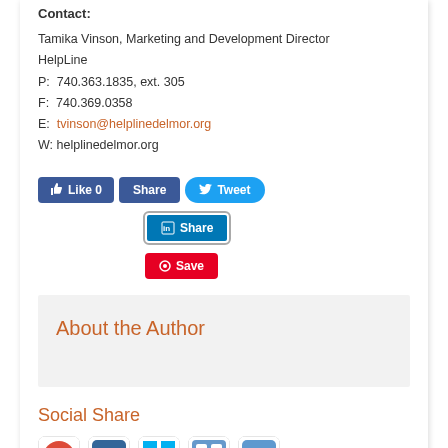Contact:
Tamika Vinson, Marketing and Development Director
HelpLine
P:  740.363.1835, ext. 305
F:  740.369.0358
E:  tvinson@helplinedelmor.org
W: helplinedelmor.org
[Figure (screenshot): Social sharing buttons: Like 0 (Facebook), Share (Facebook), Tweet (Twitter), Share (LinkedIn), Save (Pinterest)]
About the Author
Social Share
[Figure (screenshot): Row of social media icons: Google+, Myspace-style, Windows/Metro, share grid icon, Reddit]